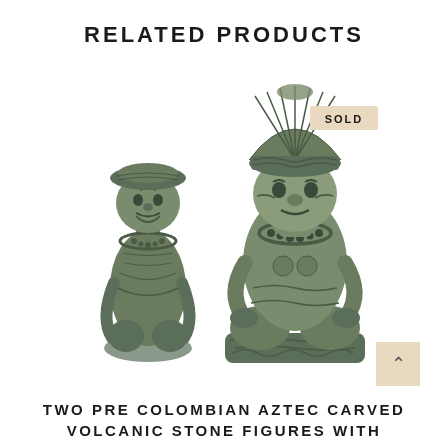RELATED PRODUCTS
[Figure (photo): Two Pre Colombian Aztec carved volcanic stone figures, one smaller seated figure on the left and a larger seated figure with elaborate headdress on the right, both in dark greenish-grey stone, with a 'SOLD' badge in the upper right area of the image.]
TWO PRE COLOMBIAN AZTEC CARVED VOLCANIC STONE FIGURES WITH